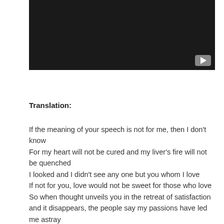[Figure (screenshot): Dark/black video thumbnail with a YouTube play button icon in the bottom-right corner]
Translation:
If the meaning of your speech is not for me, then I don't know
For my heart will not be cured and my liver's fire will not be quenched
I looked and I didn't see any one but you whom I love
If not for you, love would not be sweet for those who love
So when thought unveils you in the retreat of satisfaction and it disappears, the people say my passions have led me astray
By your life, the lover has not gone astray nor has he